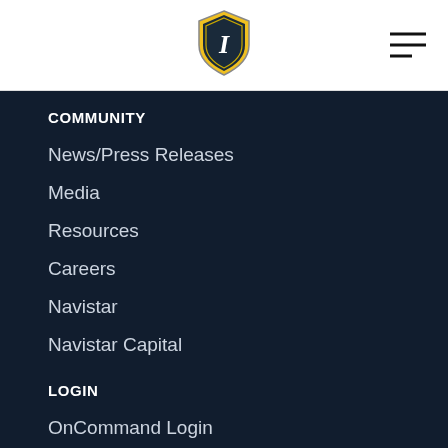[Figure (logo): International (Navistar) shield logo with gold/yellow shield and letter I in center]
COMMUNITY
News/Press Releases
Media
Resources
Careers
Navistar
Navistar Capital
LOGIN
OnCommand Login
Dealer Login
CONTACT
1.800.448.7825